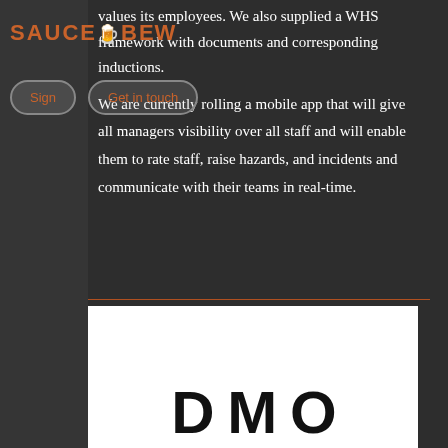[Figure (logo): SauceBrew logo with orange/rust colored text and icon, partially overlaid on dark background]
values its employees. We also supplied a WHS framework with documents and corresponding inductions.
We are currently rolling a mobile app that will give all managers visibility over all staff and will enable them to rate staff, raise hazards, and incidents and communicate with their teams in real-time.
[Figure (logo): Partial white box at bottom showing large black bold letters, likely a company logo (DAMO or similar)]